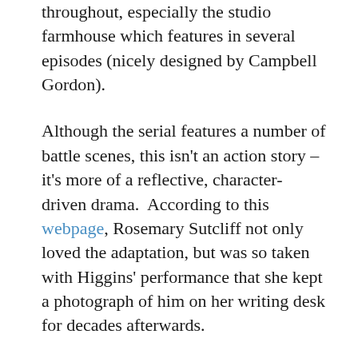throughout, especially the studio farmhouse which features in several episodes (nicely designed by Campbell Gordon).
Although the serial features a number of battle scenes, this isn't an action story – it's more of a reflective, character-driven drama.  According to this webpage, Rosemary Sutcliff not only loved the adaptation, but was so taken with Higgins' performance that she kept a photograph of him on her writing desk for decades afterwards.
It may be true that some of the tribal antics (and beards) are a little unconvincing, but overall this is a literate and well acted production which transcends its limited